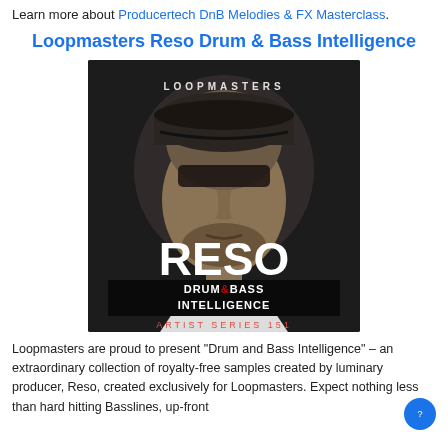Learn more about Producertech DnB Melodies & FX Masterclass.
Loopmasters Reso Drum & Bass Intelligence
[Figure (photo): Album cover for Loopmasters Reso Drum & Bass Intelligence, Artist Series 151. Shows a close-up of a male face wearing a cap against a dark background. Text overlays: LOOPMASTERS at top, RESO in large white letters, DRUM & BASS INTELLIGENCE in a black banner with red ampersand, ARTIST SERIES 151 at bottom.]
Loopmasters are proud to present "Drum and Bass Intelligence" – an extraordinary collection of royalty-free samples created by luminary producer, Reso, created exclusively for Loopmasters. Expect nothing less than hard hitting Basslines, up-front